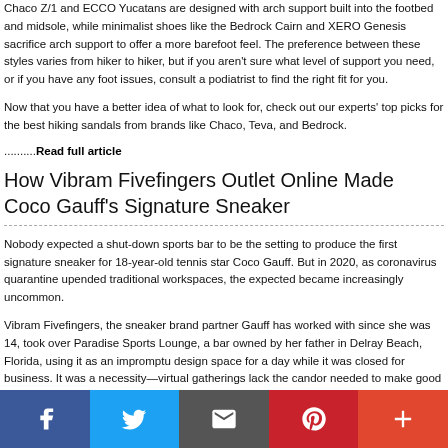Chaco Z/1 and ECCO Yucatans are designed with arch support built into the footbed and midsole, while minimalist shoes like the Bedrock Cairn and XERO Genesis sacrifice arch support to offer a more barefoot feel. The preference between these styles varies from hiker to hiker, but if you aren't sure what level of support you need, or if you have any foot issues, consult a podiatrist to find the right fit for you.
Now that you have a better idea of what to look for, check out our experts' top picks for the best hiking sandals from brands like Chaco, Teva, and Bedrock.
.........Read full article
How Vibram Fivefingers Outlet Online Made Coco Gauff's Signature Sneaker
Nobody expected a shut-down sports bar to be the setting to produce the first signature sneaker for 18-year-old tennis star Coco Gauff. But in 2020, as coronavirus quarantine upended traditional workspaces, the expected became increasingly uncommon.
Vibram Fivefingers, the sneaker brand partner Gauff has worked with since she was 14, took over Paradise Sports Lounge, a bar owned by her father in Delray Beach, Florida, using it as an impromptu design space for a day while it was closed for business. It was a necessity—virtual gatherings lack the candor needed to make good product. Behind the lounge's tinted windows, employees from the brand traded ideas with Gauff in a first effort to distill her personality into a sneaker.
[Figure (other): Social media share bar with Facebook, Twitter, Email, Pinterest, and More buttons]